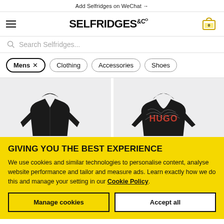Add Selfridges on WeChat →
[Figure (logo): Selfridges & Co logo with hamburger menu and cart icon]
Search Selfridges...
Mens ×
Clothing
Accessories
Shoes
[Figure (photo): Black men's hooded jacket on light grey background]
[Figure (photo): Black HUGO branded hoodie with graphic print on light grey background]
GIVING YOU THE BEST EXPERIENCE
We use cookies and similar technologies to personalise content, analyse website performance and tailor and measure ads. Learn exactly how we do this and manage your setting in our Cookie Policy.
Manage cookies
Accept all